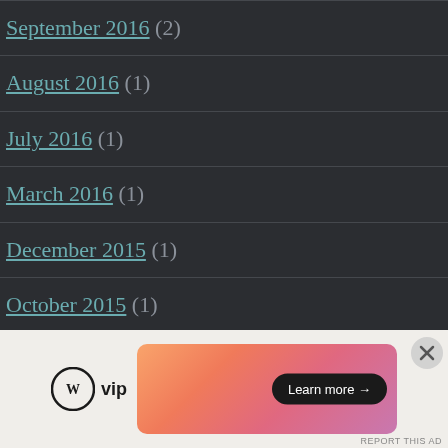September 2016 (2)
August 2016 (1)
July 2016 (1)
March 2016 (1)
December 2015 (1)
October 2015 (1)
September 2015 (1)
November 2014 (1)
[Figure (infographic): WordPress VIP advertisement banner with gradient background and Learn more button]